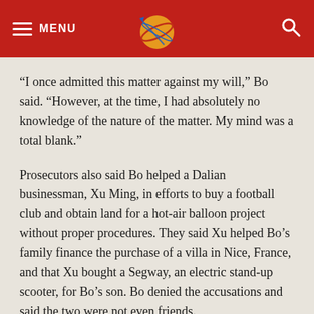MENU [logo] [search]
“I once admitted this matter against my will,” Bo said. “However, at the time, I had absolutely no knowledge of the nature of the matter. My mind was a total blank.”
Prosecutors also said Bo helped a Dalian businessman, Xu Ming, in efforts to buy a football club and obtain land for a hot-air balloon project without proper procedures. They said Xu helped Bo’s family finance the purchase of a villa in Nice, France, and that Xu bought a Segway, an electric stand-up scooter, for Bo’s son. Bo denied the accusations and said the two were not even friends.
Bo also cross-examined Xu, forcing him to repeatedly concede that he had not directly raised such matters w